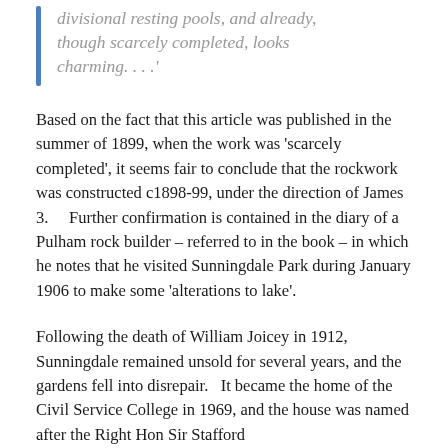divisional resting pools, and already, though scarcely completed, looks charming. . . .'
Based on the fact that this article was published in the summer of 1899, when the work was 'scarcely completed', it seems fair to conclude that the rockwork was constructed c1898-99, under the direction of James 3.    Further confirmation is contained in the diary of a Pulham rock builder – referred to in the book – in which he notes that he visited Sunningdale Park during January 1906 to make some 'alterations to lake'.
Following the death of William Joicey in 1912, Sunningdale remained unsold for several years, and the gardens fell into disrepair.   It became the home of the Civil Service College in 1969, and the house was named after the Right Hon Sir Stafford